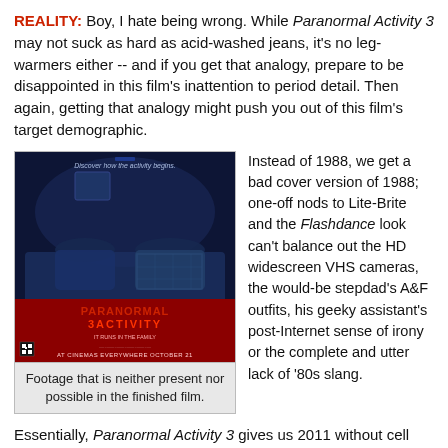REALITY: Boy, I hate being wrong. While Paranormal Activity 3 may not suck as hard as acid-washed jeans, it's no leg-warmers either -- and if you get that analogy, prepare to be disappointed in this film's inattention to period detail. Then again, getting that analogy might push you out of this film's target demographic.
[Figure (photo): Movie poster for Paranormal Activity 3 showing two people in bed with text 'Discover how the activity begins.' and 'AT CINEMAS EVERYWHERE OCTOBER 21']
Footage that is neither present nor possible in the finished film.
Instead of 1988, we get a bad cover version of 1988; one-off nods to Lite-Brite and the Flashdance look can't balance out the HD widescreen VHS cameras, the would-be stepdad's A&F outfits, his geeky assistant's post-Internet sense of irony or the complete and utter lack of '80s slang.
Essentially, Paranormal Activity 3 gives us 2011 without cell phones, which is sort of like presenting The Flaming Lips' Dark Side of the Moon as Pink Floyd's.
Paranormal Activity 3 attempts to fill in the gaps of the Paranormal Activity...